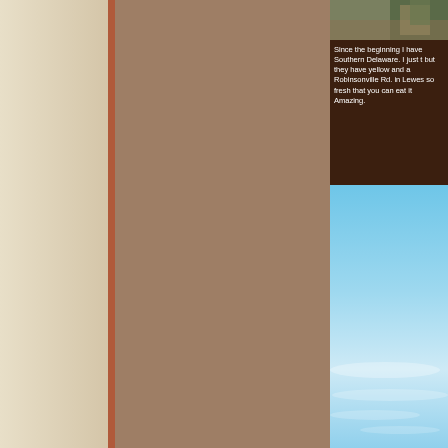[Figure (photo): Partial photo visible at top right, appears to show a person or figures, mostly cropped]
Since the beginning I have Southern Delaware. I just t but they have yellow and a Robinsonville Rd. in Lewes so fresh that you can eat it Amazing.
[Figure (photo): Blue sky with wispy white clouds, filling the lower right portion of the page]